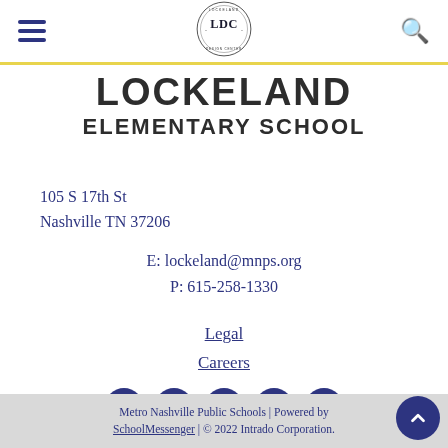[Figure (logo): Lockeland Design Center circular logo with LDC monogram in center and text around the circle]
LOCKELAND ELEMENTARY SCHOOL
105 S 17th St
Nashville TN 37206
E: lockeland@mnps.org
P: 615-258-1330
Legal
Careers
[Figure (illustration): Social media icons: Facebook, Twitter, Instagram, YouTube, LinkedIn — dark blue circles with white icons]
Metro Nashville Public Schools | Powered by SchoolMessenger | © 2022 Intrado Corporation.